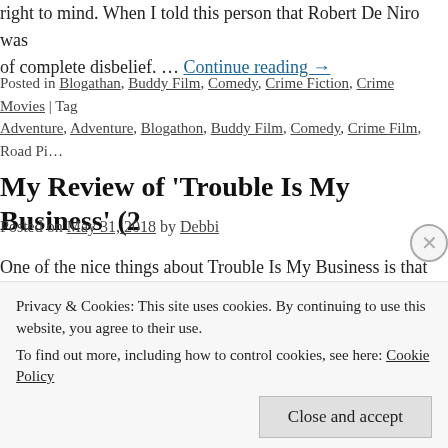right to mind. When I told this person that Robert De Niro was of complete disbelief. … Continue reading →
Posted in Blogathan, Buddy Film, Comedy, Crime Fiction, Crime Movies | Tagged Adventure, Adventure, Blogathon, Buddy Film, Comedy, Crime Film, Road Pi…
My Review of 'Trouble Is My Business' (2…
Posted on May 31, 2018 by Debbi
One of the nice things about Trouble Is My Business is that it m… is. Clearly, the film is a love letter to the movies of yesteryear— style. Having … Continue reading →
Posted in Crime Movies, Indie Film, Neo-Noir | Tagged Action, Action-Advert… Indie Film, Neo-Noir | 7 Comments
Privacy & Cookies: This site uses cookies. By continuing to use this website, you agree to their use.
To find out more, including how to control cookies, see here: Cookie Policy
Close and accept